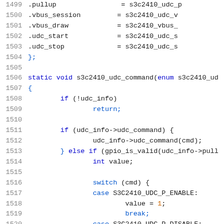[Figure (screenshot): Source code listing (C language) showing lines 1499-1520 of a Linux kernel USB device controller driver file, with line numbers on the left and syntax-highlighted code on the right.]